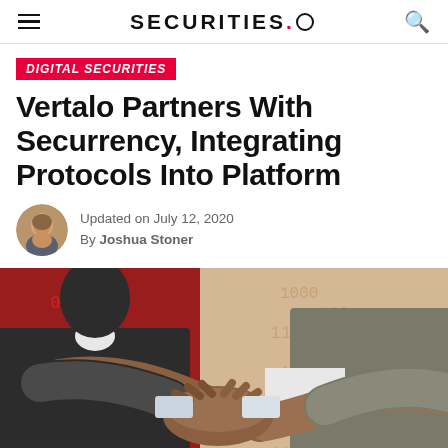SECURITIES.io
DIGITAL SECURITIES
Vertalo Partners With Securrency, Integrating Protocols Into Platform
Updated on July 12, 2020
By Joshua Stoner
[Figure (photo): Two businessmen shaking hands in front of a background with red and digital binary patterns]